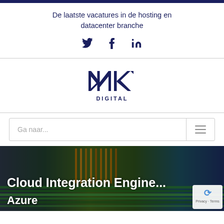De laatste vacatures in de hosting en datacenter branche
[Figure (logo): MK Digital logo with stylized MK lettermark and DIGITAL text below]
Ga naar...
Cloud Integration Engine...
Azure